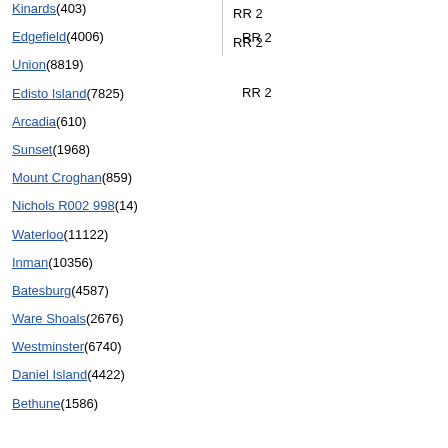Kinards(403)
Edgefield(4006)
Union(8819)
Edisto Island(7825)
Arcadia(610)
Sunset(1968)
Mount Croghan(859)
Nichols R002 998(14)
Waterloo(11122)
Inman(10356)
Batesburg(4587)
Ware Shoals(2676)
Westminster(6740)
Daniel Island(4422)
Bethune(1586)
RR 2
RR 2
Cantey Nannette
RR 2
RR 2
Ellison Donna
RR 2
RR 2
Ellison Dray
RR 2